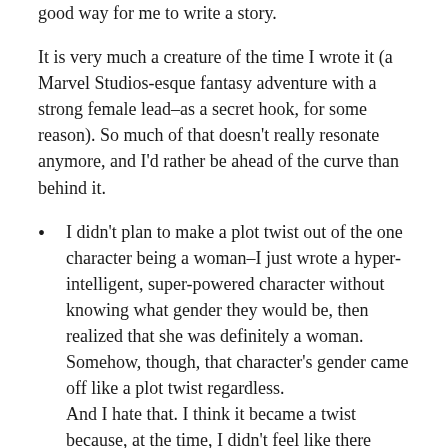good way for me to write a story.
It is very much a creature of the time I wrote it (a Marvel Studios-esque fantasy adventure with a strong female lead–as a secret hook, for some reason). So much of that doesn't really resonate anymore, and I'd rather be ahead of the curve than behind it.
I didn't plan to make a plot twist out of the one character being a woman–I just wrote a hyper-intelligent, super-powered character without knowing what gender they would be, then realized that she was definitely a woman. Somehow, though, that character's gender came off like a plot twist regardless.
And I hate that. I think it became a twist because, at the time, I didn't feel like there were enough leading ladies in nerddom (and also